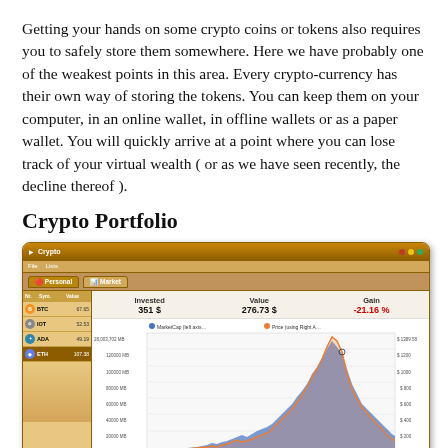Getting your hands on some crypto coins or tokens also requires you to safely store them somewhere. Here we have probably one of the weakest points in this area. Every crypto-currency has their own way of storing the tokens. You can keep them on your computer, in an online wallet, in offline wallets or as a paper wallet. You will quickly arrive at a point where you can lose track of your virtual wealth ( or as we have seen recently, the decline thereof ).
Crypto Portfolio
[Figure (screenshot): Screenshot of a Crypto portfolio application showing Invested: 351 $, Value: 276.73 $, Gain: -21.16%. Left sidebar lists BTC (67.65), IOT (52.53), ADA (49.19), ETH (107.38). Right side shows a time-series area chart of MarketCap vs Price from 05/17/2017 to 01/03/2018, with y-axes showing values up to 28,003,702 MB on left and $1389.58 on right.]